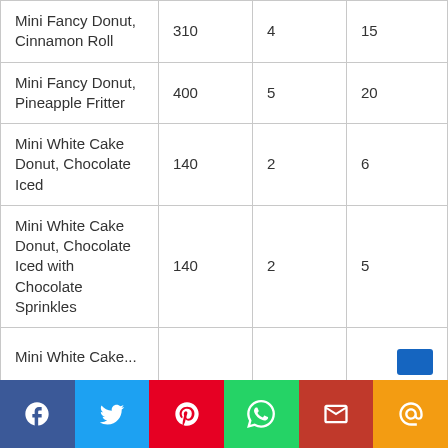| Mini Fancy Donut, Cinnamon Roll | 310 | 4 | 15 |
| Mini Fancy Donut, Pineapple Fritter | 400 | 5 | 20 |
| Mini White Cake Donut, Chocolate Iced | 140 | 2 | 6 |
| Mini White Cake Donut, Chocolate Iced with Chocolate Sprinkles | 140 | 2 | 5 |
| Mini White Cake... |  |  |  |
[Figure (other): Social share bar with Facebook, Twitter, Pinterest, WhatsApp, Gmail, and Email buttons]